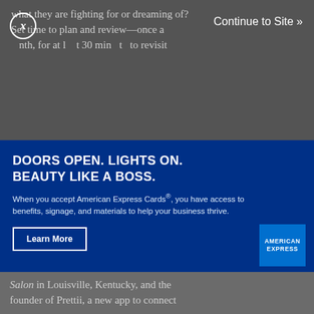what they are fighting for or dreaming of? Set time to plan and review—once a month, for at least 30 minutes, to revisit
Continue to Site »
[Figure (photo): Hair salon scene: a hairstylist in a yellow shirt uses a blow dryer on a client with dark curly hair, with a mirror reflection showing another person in the background.]
DOORS OPEN. LIGHTS ON. BEAUTY LIKE A BOSS.
When you accept American Express Cards®, you have access to benefits, signage, and materials to help your business thrive.
Learn More
[Figure (logo): American Express logo - blue box with AMERICAN EXPRESS text in white]
Salon in Louisville, Kentucky, and the founder of Prettii, a new app to connect